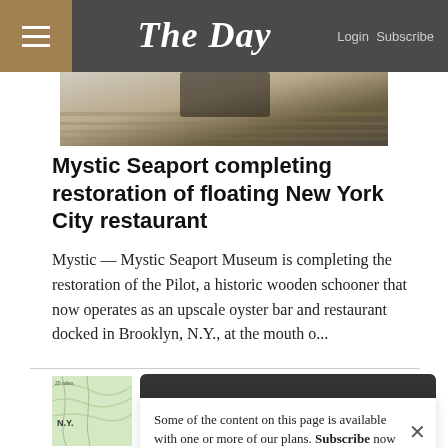The Day — Login Subscribe
[Figure (photo): Partial photo of a wooden boat deck with dark equipment visible]
Mystic Seaport completing restoration of floating New York City restaurant
Mystic — Mystic Seaport Museum is completing the restoration of the Pilot, a historic wooden schooner that now operates as an upscale oyster bar and restaurant docked in Brooklyn, N.Y., at the mouth o...
[Figure (map): Partial map showing N.Y. region with green terrain]
Some of the content on this page is available with one or more of our plans. Subscribe now to get full page access.